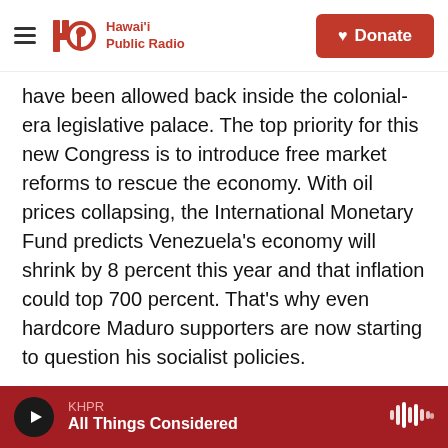Hawai'i Public Radio | Donate
have been allowed back inside the colonial-era legislative palace. The top priority for this new Congress is to introduce free market reforms to rescue the economy. With oil prices collapsing, the International Monetary Fund predicts Venezuela's economy will shrink by 8 percent this year and that inflation could top 700 percent. That's why even hardcore Maduro supporters are now starting to question his socialist policies.
UNIDENTIFIED WOMAN: (Speaking Spanish).
ILDENIS MEJIAS: (Speaking Spanish).
KHPR | All Things Considered